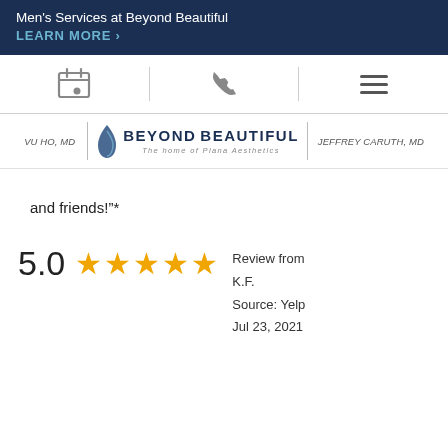Men's Services at Beyond Beautiful
LEARN MORE >
[Figure (screenshot): Navigation icon bar with calendar/appointment icon, phone icon, and hamburger menu icon, separated by vertical dividers]
[Figure (logo): Beyond Beautiful logo with teardrop icon, text BEYOND BEAUTIFUL, tagline 'The home of Plana Aesthetics', flanked by VU HO, MD on left and JEFFREY CARUTH, MD on right]
and friends!"*
5.0 ★★★★★ Review from K.F. Source: Yelp Jul 23, 2021